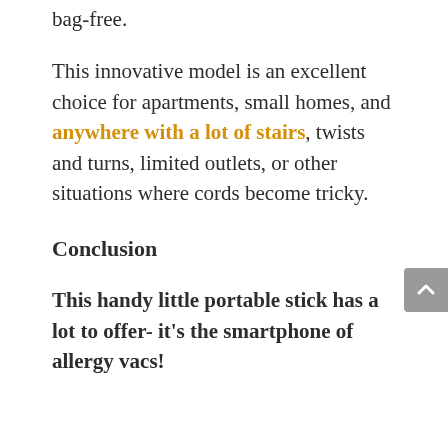bag-free.
This innovative model is an excellent choice for apartments, small homes, and anywhere with a lot of stairs, twists and turns, limited outlets, or other situations where cords become tricky.
Conclusion
This handy little portable stick has a lot to offer- it's the smartphone of allergy vacs!